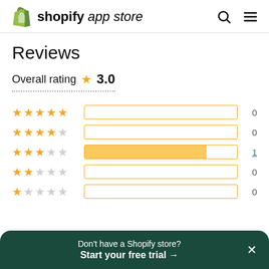shopify app store
Reviews
Overall rating 3.0
[Figure (bar-chart): Rating distribution]
Don't have a Shopify store? Start your free trial →